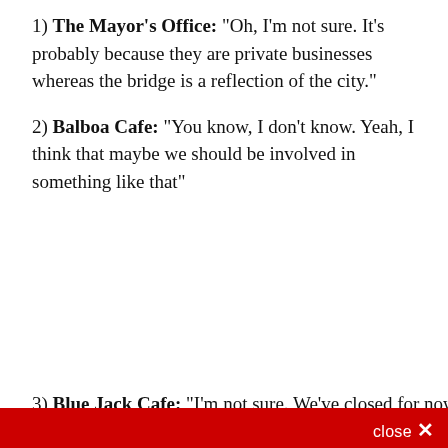1) The Mayor's Office: "Oh, I'm not sure. It's probably because they are private businesses whereas the bridge is a reflection of the city."
2) Balboa Cafe: "You know, I don't know. Yeah, I think that maybe we should be involved in something like that"
3) Blue Jack Cafe: "I'm not sure. We've closed for now t...
Sign up for the Eater San Francisco newsletter
The freshest news from the local food world
Email (required)
By submitting your email, you agree to our Terms and Privacy Notice. You can opt out at any time. This site is protected by reCAPTCHA and the Google Privacy Policy and Terms of Service apply.